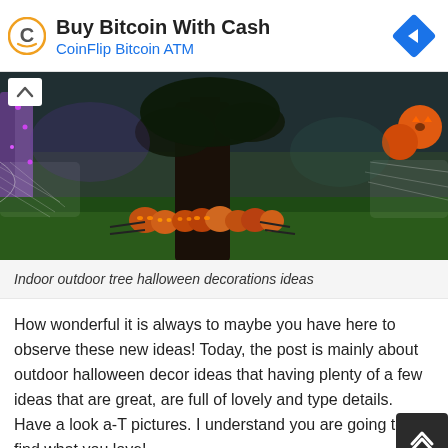[Figure (infographic): Advertisement banner for CoinFlip Bitcoin ATM with orange C logo icon and blue navigation arrow diamond icon. Text reads 'Buy Bitcoin With Cash' and 'CoinFlip Bitcoin ATM'.]
[Figure (photo): Outdoor Halloween decoration scene at night showing carved pumpkins with glowing faces arranged around a large tree trunk, fake spider webs on trees, purple lights on trees, and orange jack-o-lanterns in upper right corner, on a grass lawn.]
Indoor outdoor tree halloween decorations ideas
How wonderful it is always to maybe you have here to observe these new ideas! Today, the post is mainly about outdoor halloween decor ideas that having plenty of a few ideas that are great, are full of lovely and type details. Have a look a-T pictures. I understand you are going to find what you love!